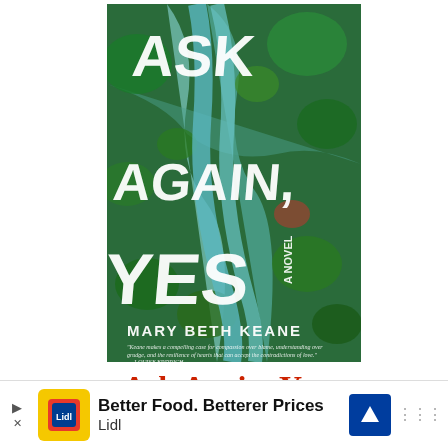[Figure (illustration): Book cover of 'Ask Again, Yes' by Mary Beth Keane. Shows an aerial view of green landscape with winding roads. Large white text reads 'ASK AGAIN, YES' with 'A NOVEL' in smaller text. Author name 'MARY BETH KEANE' at bottom. Blurb from Louise Erdrich at bottom.]
Ask Again, Yes
[Figure (other): Advertisement banner for Lidl: 'Better Food. Betterer Prices' with Lidl logo, navigation arrow icon, and menu dots.]